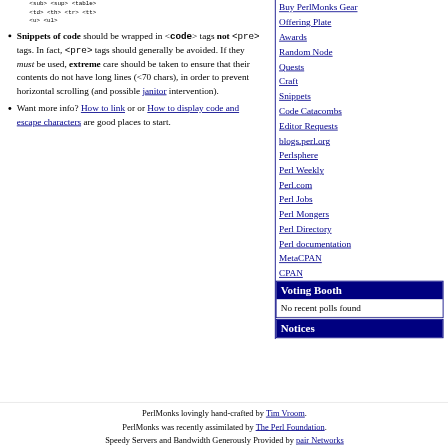<sub> <sup> <table>
<td> <th> <tr> <tt>
<u> <ul>
Snippets of code should be wrapped in <code> tags not <pre> tags. In fact, <pre> tags should generally be avoided. If they must be used, extreme care should be taken to ensure that their contents do not have long lines (<70 chars), in order to prevent horizontal scrolling (and possible janitor intervention).
Want more info? How to link or or How to display code and escape characters are good places to start.
Buy PerlMonks Gear
Offering Plate
Awards
Random Node
Quests
Craft
Snippets
Code Catacombs
Editor Requests
blogs.perl.org
Perlsphere
Perl Weekly
Perl.com
Perl Jobs
Perl Mongers
Perl Directory
Perl documentation
MetaCPAN
CPAN
Voting Booth
No recent polls found
Notices
PerlMonks lovingly hand-crafted by Tim Vroom.
PerlMonks was recently assimilated by The Perl Foundation.
Speedy Servers and Bandwidth Generously Provided by pair Networks